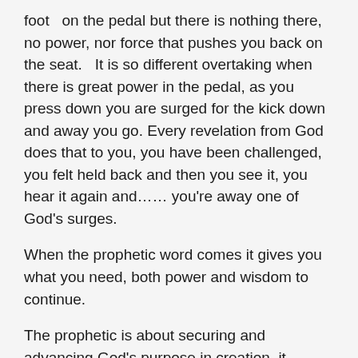foot  on the pedal but there is nothing there, no power, nor force that pushes you back on the seat.   It is so different overtaking when there is great power in the pedal, as you press down you are surged for the kick down and away you go. Every revelation from God does that to you, you have been challenged, you felt held back and then you see it, you hear it again and…… you're away one of God's surges.
When the prophetic word comes it gives you what you need, both power and wisdom to continue.
The prophetic is about securing and advancing God's purpose in creation, it establishes the house, abode, the dwelling place of God this is the prophetic heart. God will always establish a word, a goal then press on to add to what has been given by Prophetic...